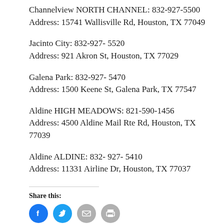Channelview NORTH CHANNEL: 832-927-5500
Address: 15741 Wallisville Rd, Houston, TX 77049
Jacinto City: 832-927- 5520
Address: 921 Akron St, Houston, TX 77029
Galena Park: 832-927- 5470
Address: 1500 Keene St, Galena Park, TX 77547
Aldine HIGH MEADOWS: 821-590-1456
Address: 4500 Aldine Mail Rte Rd, Houston, TX 77039
Aldine ALDINE: 832- 927- 5410
Address: 11331 Airline Dr, Houston, TX 77037
Share this:
[Figure (other): Social media sharing icons: Facebook (blue circle), Twitter (blue circle), Email (gray circle), Print (gray circle)]